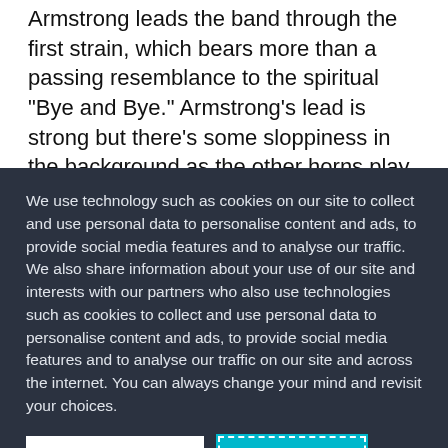Armstrong leads the band through the first strain, which bears more than a passing resemblance to the spiritual "Bye and Bye." Armstrong's lead is strong but there's some sloppiness in the background as the other horns play a semblance of an arrangement, suggesting either poor reading or perhaps some spontaneous creation. Eventually, the song morphs
We use technology such as cookies on our site to collect and use personal data to personalise content and ads, to provide social media features and to analyse our traffic. We also share information about your use of our site and interests with our partners who also use technologies such as cookies to collect and use personal data to personalise content and ads, to provide social media features and to analyse our traffic on our site and across the internet. You can always change your mind and revisit your choices.
Manage Options
I Accept